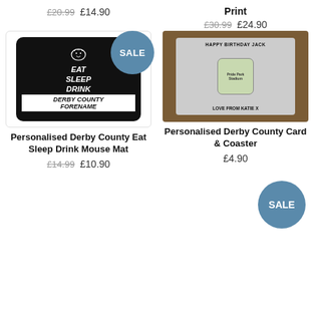£20.99 £14.90
Print
£30.99 £24.90
[Figure (photo): Personalised Derby County Eat Sleep Drink Mouse Mat product image with SALE badge]
[Figure (photo): Personalised Derby County Card & Coaster product image]
Personalised Derby County Eat Sleep Drink Mouse Mat
£14.99 £10.90
Personalised Derby County Card & Coaster
£4.90
[Figure (other): SALE badge in bottom right corner]